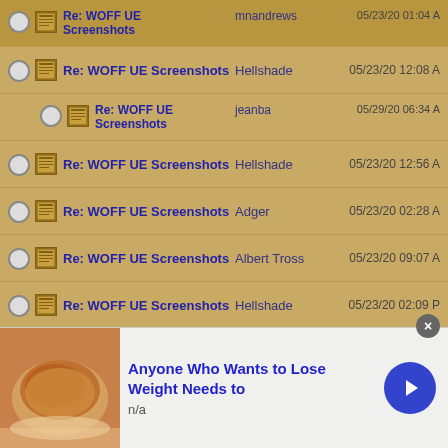Re: WOFF UE Screenshots - mnandrews - 05/23/20 01:04 AM
Re: WOFF UE Screenshots - Hellshade - 05/23/20 12:08 AM
Re: WOFF UE Screenshots - jeanba - 05/29/20 06:34 AM
Re: WOFF UE Screenshots - Hellshade - 05/23/20 12:56 AM
Re: WOFF UE Screenshots - Adger - 05/23/20 02:28 AM
Re: WOFF UE Screenshots - Albert Tross - 05/23/20 09:07 AM
Re: WOFF UE Screenshots - Hellshade - 05/23/20 02:09 PM
Re: WOFF UE Screenshots - Hellshade - 05/23/20 02:35 PM
Re: WOFF UE Screenshots - Hellshade - 05/23/20 02:38 PM
Re: WOFF UE Screenshots - HarryH - 05/23/20 02:49 PM
Re: WOFF UE Screenshots - BuckeyeBob - 05/23/20 04:47 PM
Re: WOFF UE - Hellshade - 05/23/20
[Figure (infographic): Advertisement banner: Anyone Who Wants to Lose Weight Needs to, with food image thumbnail and navigation arrow button]